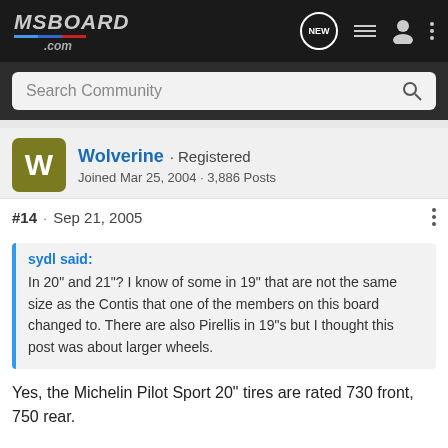MSBoard.com
Search Community
Wolverine · Registered
Joined Mar 25, 2004 · 3,886 Posts
#14 · Sep 21, 2005
sydl said:
In 20" and 21"? I know of some in 19" that are not the same size as the Contis that one of the members on this board changed to. There are also Pirellis in 19"s but I thought this post was about larger wheels.
Yes, the Michelin Pilot Sport 20" tires are rated 730 front, 750 rear.